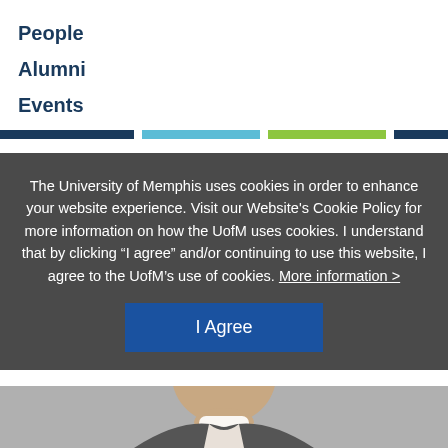People
Alumni
Events
The University of Memphis uses cookies in order to enhance your website experience. Visit our Website's Cookie Policy for more information on how the UofM uses cookies. I understand that by clicking “I agree” and/or continuing to use this website, I agree to the UofM’s use of cookies. More information >
[Figure (photo): Bottom portion of a smiling man's face in business attire]